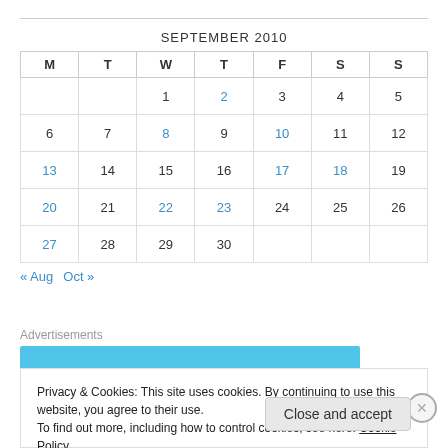SEPTEMBER 2010
| M | T | W | T | F | S | S |
| --- | --- | --- | --- | --- | --- | --- |
|  |  | 1 | 2 | 3 | 4 | 5 |
| 6 | 7 | 8 | 9 | 10 | 11 | 12 |
| 13 | 14 | 15 | 16 | 17 | 18 | 19 |
| 20 | 21 | 22 | 23 | 24 | 25 | 26 |
| 27 | 28 | 29 | 30 |  |  |  |
« Aug   Oct »
Advertisements
[Figure (other): Blue advertisement banner]
Privacy & Cookies: This site uses cookies. By continuing to use this website, you agree to their use. To find out more, including how to control cookies, see here: Cookie Policy